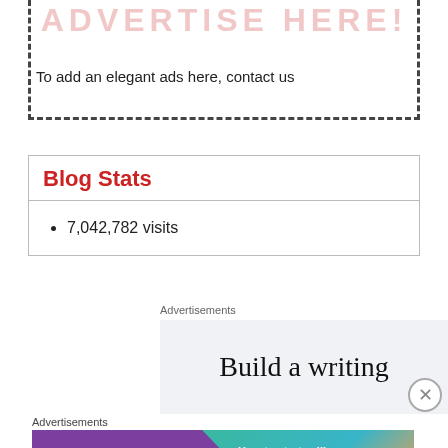[Figure (other): Dashed border advertise placeholder box with watermark text 'ADVERTISE HERE!']
To add an elegant ads here, contact us
Blog Stats
7,042,782 visits
Advertisements
[Figure (other): Ad block with text 'Build a writing']
Advertisements
[Figure (other): WooCommerce ad banner: 'How to start selling subscriptions online']